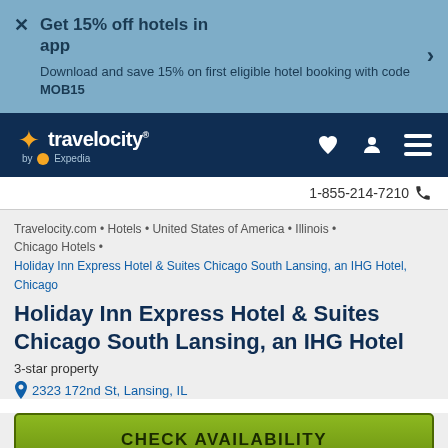Get 15% off hotels in app
Download and save 15% on first eligible hotel booking with code MOB15
[Figure (logo): Travelocity by Expedia logo with navigation icons (heart, user, menu) on dark blue background]
1-855-214-7210
Travelocity.com • Hotels • United States of America • Illinois • Chicago Hotels • Holiday Inn Express Hotel & Suites Chicago South Lansing, an IHG Hotel, Chicago
Holiday Inn Express Hotel & Suites Chicago South Lansing, an IHG Hotel
3-star property
2323 172nd St, Lansing, IL
CHECK AVAILABILITY